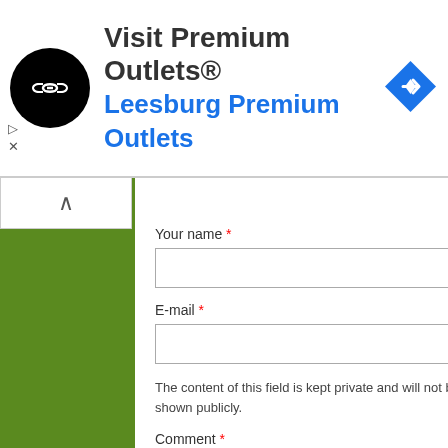[Figure (infographic): Advertisement banner for Visit Premium Outlets® – Leesburg Premium Outlets, with a black circular logo with chain-link icon, navigation diamond icon, and ad controls]
Your name *
E-mail *
The content of this field is kept private and will not be shown publicly.
Comment *
Notify me when new comments are posted